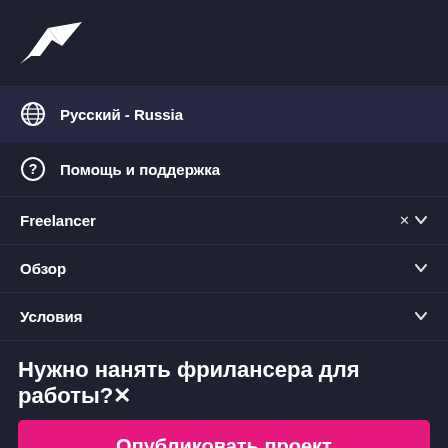[Figure (logo): Freelancer stylized bird/arrow logo in white on dark background]
Русский - Russia
Помощь и поддержка
Freelancer
Обзор
Условия
Нужно нанять фрилансера для работы?✕
Опубликовать проект